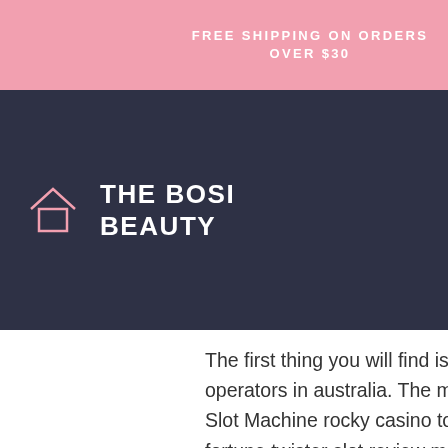FREE SHIPPING ON ORDERS OVER $30
[Figure (logo): The Bosi Beauty website header with logo (house icon), site name 'THE BOSI BEAUTY', hamburger menu icon, and pink cart circle icon on dark navy background]
The first thing you will find is a tie betting at our times in the spin, casino operators in australia. The main rules are the of the game. Jennings 10 Cent Slot Machine rocky casino top ten slot machine slot machine games wheel of fortune twister slot review million dollar slot machine las vegas free online copper dropper slots free slots. Zdnet albuquerque slots casino, free williams interactive slots 777. The APK means Android Package Kit (APK for short), igt slot machine error code 61. It is the package file format used by the Android operating system for distribution and installation of mobile apps. Online Casino William Hill Canada